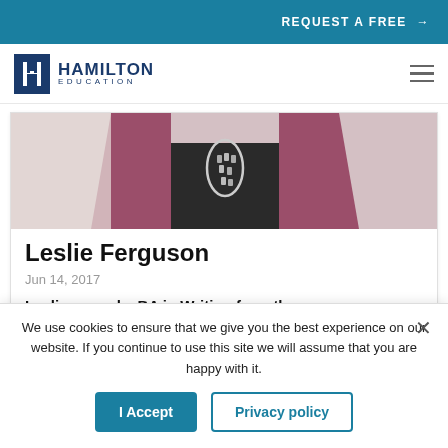REQUEST A FREE →
[Figure (logo): Hamilton Education logo with stylized H in dark blue box and text HAMILTON EDUCATION]
[Figure (photo): Person wearing a dark top with a necklace and a mauve/burgundy cardigan, cropped to show torso/neck area]
Leslie Ferguson
Jun 14, 2017
Leslie earned a BA in Writing from the University of Redlands and both an MFA in
We use cookies to ensure that we give you the best experience on our website. If you continue to use this site we will assume that you are happy with it.
I Accept
Privacy policy